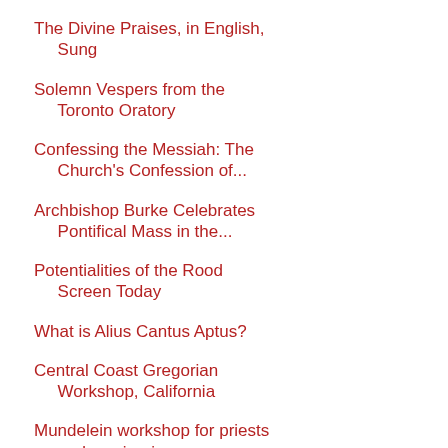The Divine Praises, in English, Sung
Solemn Vespers from the Toronto Oratory
Confessing the Messiah: The Church's Confession of...
Archbishop Burke Celebrates Pontifical Mass in the...
Potentialities of the Rood Screen Today
What is Alius Cantus Aptus?
Central Coast Gregorian Workshop, California
Mundelein workshop for priests and seminarians
The Proper Place of Propers
Good Shepherd Sunday
The Stained Glass of Gothic